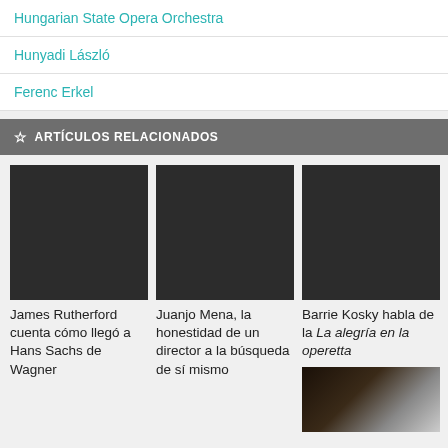Hungarian State Opera Orchestra
Hunyadi László
Ferenc Erkel
ARTÍCULOS RELACIONADOS
[Figure (photo): Dark placeholder image for James Rutherford article]
James Rutherford cuenta cómo llegó a Hans Sachs de Wagner
[Figure (photo): Dark placeholder image for Juanjo Mena article]
Juanjo Mena, la honestidad de un director a la búsqueda de sí mismo
[Figure (photo): Dark placeholder image for Barrie Kosky article]
Barrie Kosky habla de la La alegría en la operetta
[Figure (photo): Photograph of a person in dark lighting for a fourth article]